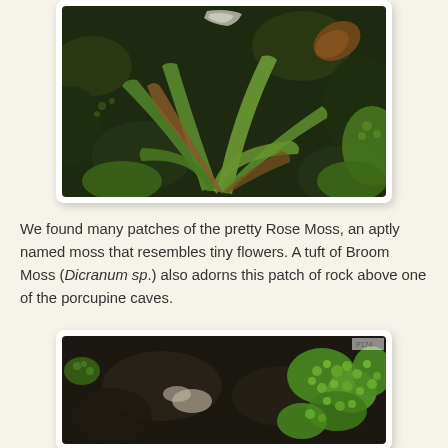[Figure (photo): Close-up photo of green moss and elongated plant fronds/leaves on a dark rocky surface, with a brown dried leaf and white lichen visible]
We found many patches of the pretty Rose Moss, an aptly named moss that resembles tiny flowers.  A tuft of Broom Moss (Dicranum sp.) also adorns this patch of rock above one of the porcupine caves.
[Figure (photo): Close-up photo of bright green cushion moss growing on dark rocky/soil surface, showing textured clumps of moss]